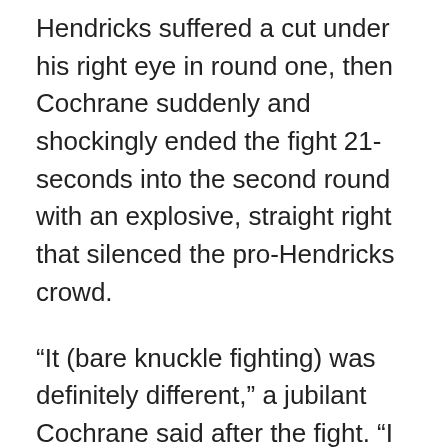Hendricks suffered a cut under his right eye in round one, then Cochrane suddenly and shockingly ended the fight 21-seconds into the second round with an explosive, straight right that silenced the pro-Hendricks crowd.
“It (bare knuckle fighting) was definitely different,” a jubilant Cochrane said after the fight. “I love my big right hand, I’ve been practicing it.:
“Honestly, I’m moved” said an elated WBKFF CEO and founder Tom Stankiewicz after the conclusion of his organization’s inaugural show. “I was very surprised by the underdog, Munoz, and a new star was born tonight, Dakota Cochrane. Everybody fought their best, they gave all…